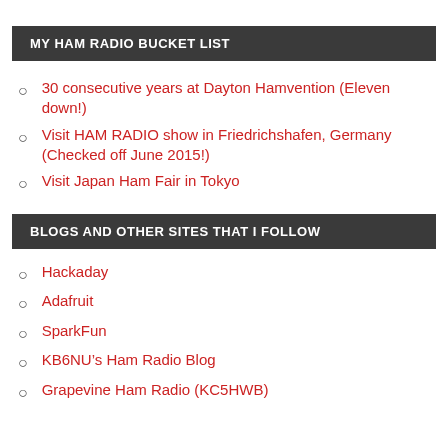MY HAM RADIO BUCKET LIST
30 consecutive years at Dayton Hamvention (Eleven down!)
Visit HAM RADIO show in Friedrichshafen, Germany (Checked off June 2015!)
Visit Japan Ham Fair in Tokyo
BLOGS AND OTHER SITES THAT I FOLLOW
Hackaday
Adafruit
SparkFun
KB6NU's Ham Radio Blog
Grapevine Ham Radio (KC5HWB)